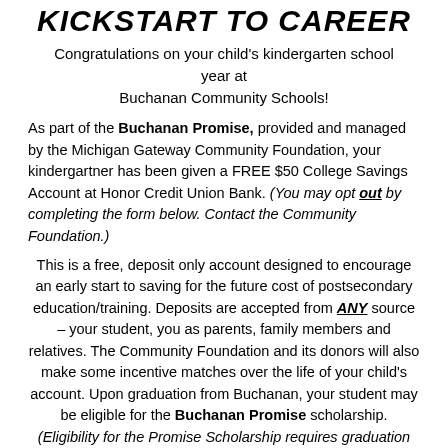KICKSTART TO CAREER
Congratulations on your child's kindergarten school year at Buchanan Community Schools!
As part of the Buchanan Promise, provided and managed by the Michigan Gateway Community Foundation, your kindergartner has been given a FREE $50 College Savings Account at Honor Credit Union Bank. (You may opt out by completing the form below. Contact the Community Foundation.)
This is a free, deposit only account designed to encourage an early start to saving for the future cost of postsecondary education/training. Deposits are accepted from ANY source – your student, you as parents, family members and relatives. The Community Foundation and its donors will also make some incentive matches over the life of your child's account. Upon graduation from Buchanan, your student may be eligible for the Buchanan Promise scholarship. (Eligibility for the Promise Scholarship requires graduation AND residency within the